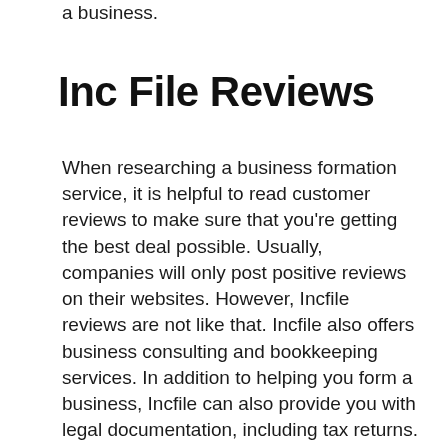a business.
Inc File Reviews
When researching a business formation service, it is helpful to read customer reviews to make sure that you're getting the best deal possible. Usually, companies will only post positive reviews on their websites. However, Incfile reviews are not like that. Incfile also offers business consulting and bookkeeping services. In addition to helping you form a business, Incfile can also provide you with legal documentation, including tax returns. It is recommended that you leave the bookkeeping to the professionals, but if you must, Incfile can assist you.